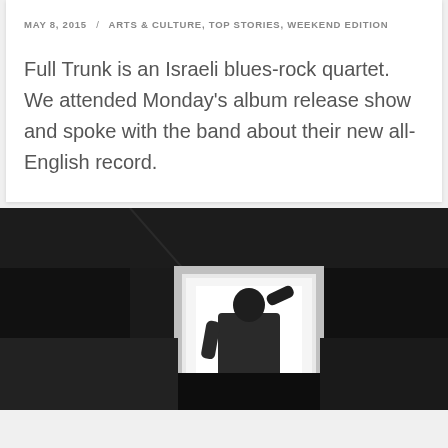MAY 8, 2015 / ARTS & CULTURE, TOP STORIES, WEEKEND EDITION
Full Trunk is an Israeli blues-rock quartet. We attended Monday's album release show and spoke with the band about their new all-English record.
[Figure (photo): Black and white photograph of a person seen from behind, standing in a bright doorway/window frame with hand raised to head, in a dark room]